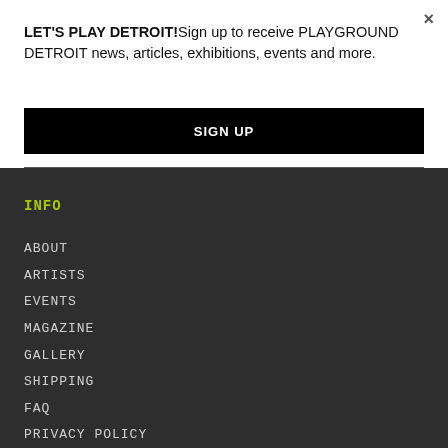LET'S PLAY DETROIT!Sign up to receive PLAYGROUND DETROIT news, articles, exhibitions, events and more.
×
SIGN UP
INFO
ABOUT
ARTISTS
EVENTS
MAGAZINE
GALLERY
SHIPPING
FAQ
PRIVACY POLICY